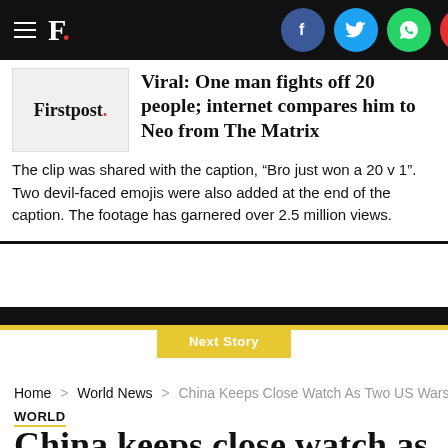Firstpost navigation bar with hamburger menu, F. logo, and social share icons (Facebook, Twitter, WhatsApp, Email)
[Figure (screenshot): Firstpost logo image placeholder in gray box]
Viral: One man fights off 20 people; internet compares him to Neo from The Matrix
The clip was shared with the caption, “Bro just won a 20 v 1”. Two devil-faced emojis were also added at the end of the caption. The footage has garnered over 2.5 million views.
Next Story
Home > World News > China Keeps Close Watch As Two US Warships Sail Th
WORLD
China keeps close watch as two US warships sail through